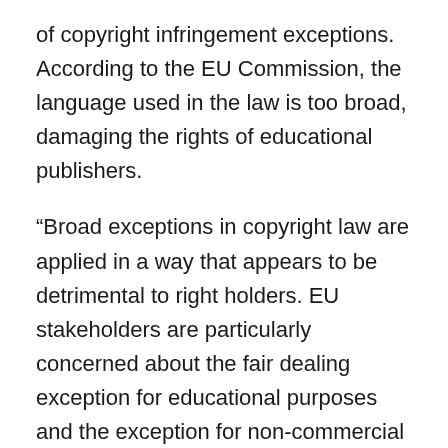of copyright infringement exceptions. According to the EU Commission, the language used in the law is too broad, damaging the rights of educational publishers.
“Broad exceptions in copyright law are applied in a way that appears to be detrimental to right holders. EU stakeholders are particularly concerned about the fair dealing exception for educational purposes and the exception for non-commercial user-generated content,” the Commission writes.
The same issue was previously pointed out by the US Government. That’s also true for the second problem, Canada’s lack of a takedown procedure to